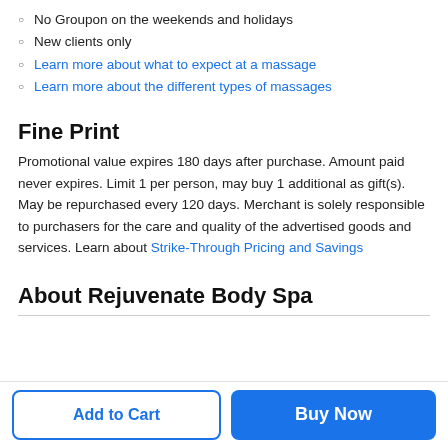No Groupon on the weekends and holidays
New clients only
Learn more about what to expect at a massage
Learn more about the different types of massages
Fine Print
Promotional value expires 180 days after purchase. Amount paid never expires. Limit 1 per person, may buy 1 additional as gift(s). May be repurchased every 120 days. Merchant is solely responsible to purchasers for the care and quality of the advertised goods and services. Learn about Strike-Through Pricing and Savings
About Rejuvenate Body Spa